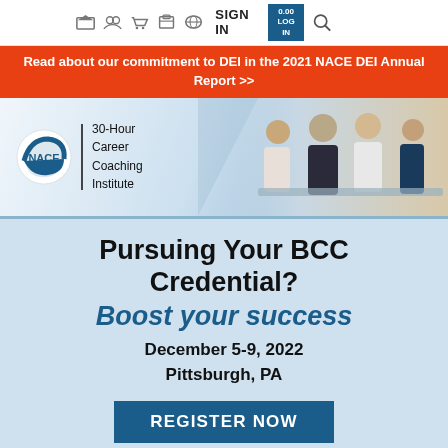SIGN IN
Read about our commitment to DEI in the 2021 NACE DEI Annual Report >>
[Figure (logo): NACE logo with circular graphic and text '30-Hour Career Coaching Institute', with group of professionals photo on right]
Pursuing Your BCC Credential?
Boost your success
December 5-9, 2022
Pittsburgh, PA
REGISTER NOW
[Figure (photo): Partial view of NACE logo and photo at the bottom of the page]